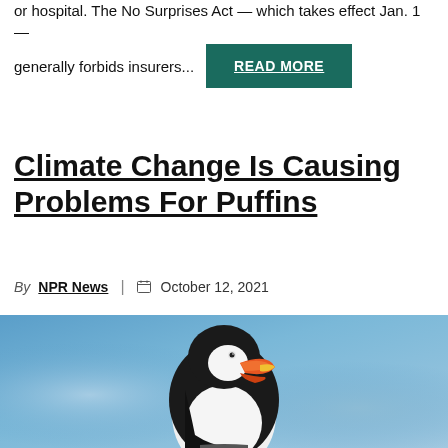or hospital. The No Surprises Act — which takes effect Jan. 1 —
generally forbids insurers...
READ MORE
Climate Change Is Causing Problems For Puffins
By NPR News | October 12, 2021
[Figure (photo): A puffin bird with distinctive orange and red beak, white chest, and black back, standing against a blurred blue background.]